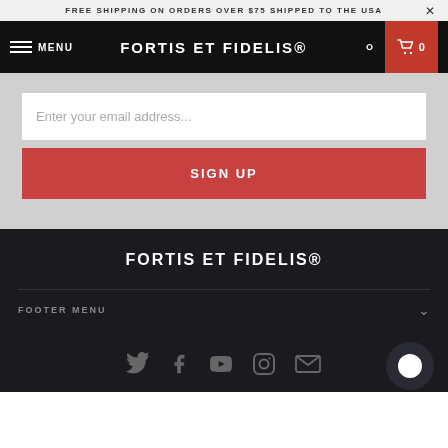FREE SHIPPING ON ORDERS OVER $75 SHIPPED TO THE USA
FORTIS ET FIDELIS®
Enter your email address...
SIGN UP
FORTIS ET FIDELIS®
FOOTER MENU
[Figure (infographic): Social media icons: Twitter, Facebook, YouTube, Instagram, Email, and a chat bubble icon]